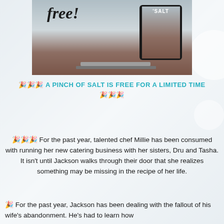[Figure (photo): Promotional image showing the text 'free!' in script font alongside a tablet displaying 'SALT' cover and a laptop on a desk, on a light background.]
🎉🎉🎉 A PINCH OF SALT IS FREE FOR A LIMITED TIME 🎉🎉🎉
🎉🎉🎉 For the past year, talented chef Millie has been consumed with running her new catering business with her sisters, Dru and Tasha. It isn't until Jackson walks through their door that she realizes something may be missing in the recipe of her life.
🎉 For the past year, Jackson has been dealing with the fallout of his wife's abandonment. He's had to learn how